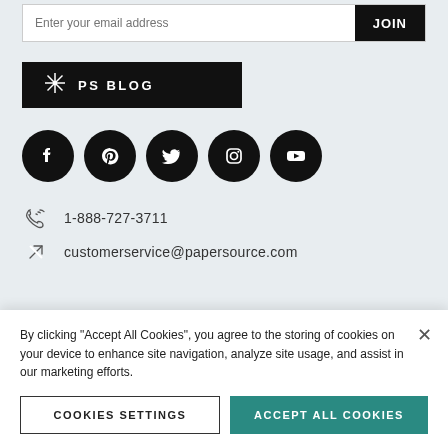[Figure (screenshot): Email input field with placeholder 'Enter your email address' and a black JOIN button]
[Figure (logo): Black banner with snowflake/asterisk icon and text 'PS BLOG']
[Figure (illustration): Row of five black circular social media icons: Facebook, Pinterest, Twitter, Instagram, YouTube]
1-888-727-3711
customerservice@papersource.com
By clicking "Accept All Cookies", you agree to the storing of cookies on your device to enhance site navigation, analyze site usage, and assist in our marketing efforts.
COOKIES SETTINGS
ACCEPT ALL COOKIES